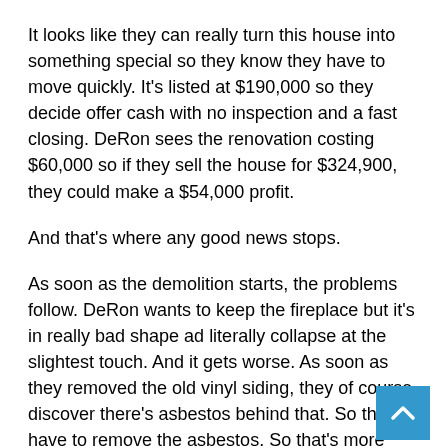It looks like they can really turn this house into something special so they know they have to move quickly. It's listed at $190,000 so they decide offer cash with no inspection and a fast closing. DeRon sees the renovation costing $60,000 so if they sell the house for $324,900, they could make a $54,000 profit.
And that's where any good news stops.
As soon as the demolition starts, the problems follow. DeRon wants to keep the fireplace but it's in really bad shape ad literally collapse at the slightest touch. And it gets worse. As soon as they removed the old vinyl siding, they of course discover there's asbestos behind that. So they have to remove the asbestos. So that's more money and more time.
And it gets even worse.
Behind the asbestos is rotten wood, lots of rotten wood. That also means the whole chimney has to come down, so